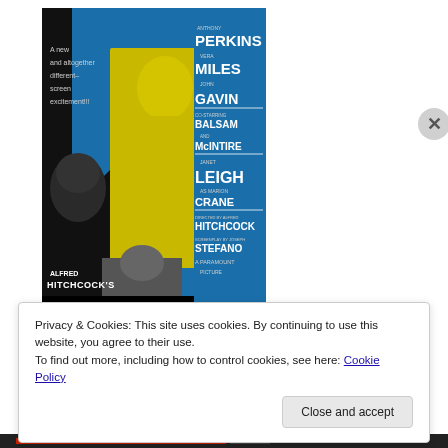[Figure (illustration): Movie poster for Alfred Hitchcock's Psycho (1960). Blue and black poster featuring a woman in yellow lingerie at center, a man's face in shadow at left, and a shirtless male figure at bottom. Cast names listed on right side: Anthony Perkins, Vera Miles, John Gavin, Martin Balsam, John McIntire, Janet Leigh as Marion Crane. Directed by Alfred Hitchcock, screenplay by Joseph Stefano. A Paramount picture. Title PSYCHO in large yellow block letters at bottom. Text at upper left: 'A new and altogether different screen excitement!!!']
Privacy & Cookies: This site uses cookies. By continuing to use this website, you agree to their use.
To find out more, including how to control cookies, see here: Cookie Policy
Close and accept